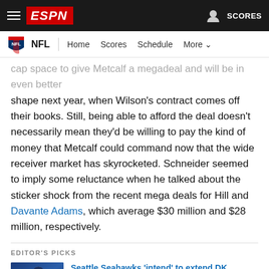ESPN — NFL | Home Scores Schedule More
cap space to give Metcalf a megadeal and will be in even better shape next year, when Wilson's contract comes off their books. Still, being able to afford the deal doesn't necessarily mean they'd be willing to pay the kind of money that Metcalf could command now that the wide receiver market has skyrocketed. Schneider seemed to imply some reluctance when he talked about the sticker shock from the recent mega deals for Hill and Davante Adams, which average $30 million and $28 million, respectively.
EDITOR'S PICKS
[Figure (photo): Seattle Seahawks player wearing #14 jersey]
Seattle Seahawks 'intend' to extend DK Metcalf, but will receiver market get in the way?
145d • Brady Henderson